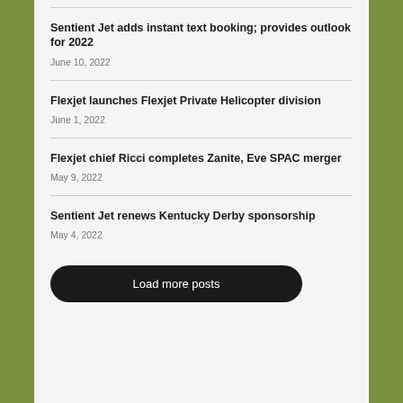Sentient Jet adds instant text booking; provides outlook for 2022
June 10, 2022
Flexjet launches Flexjet Private Helicopter division
June 1, 2022
Flexjet chief Ricci completes Zanite, Eve SPAC merger
May 9, 2022
Sentient Jet renews Kentucky Derby sponsorship
May 4, 2022
Load more posts